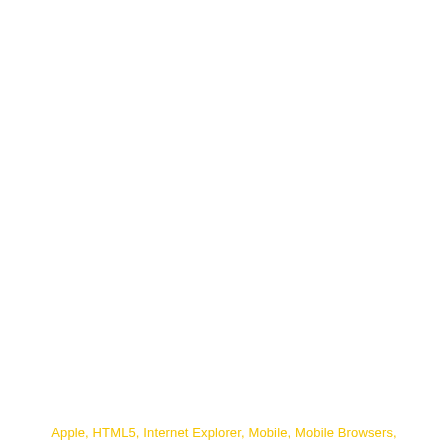Apple, HTML5, Internet Explorer, Mobile, Mobile Browsers,